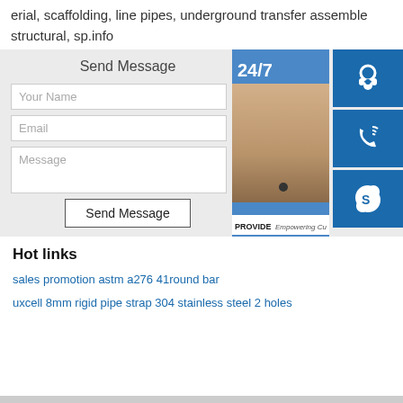erial, scaffolding, line pipes, underground transfer assemble structural, sp.info
[Figure (screenshot): Send Message contact form with fields: Your Name, Email, Message, and a Send Message button. Overlaid on the right is a 24/7 customer service widget showing a woman with a headset, icons for headset, phone, and Skype, and an 'online live' banner.]
Hot links
sales promotion astm a276 41round bar
uxcell 8mm rigid pipe strap 304 stainless steel 2 holes